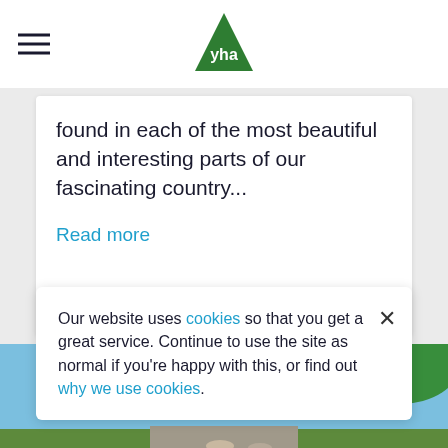YHA logo and navigation menu
found in each of the most beautiful and interesting parts of our fascinating country...
Read more
[Figure (photo): Outdoor nature scene with green trees and blue sky, with cows visible at the bottom]
Our website uses cookies so that you get a great service. Continue to use the site as normal if you're happy with this, or find out why we use cookies.